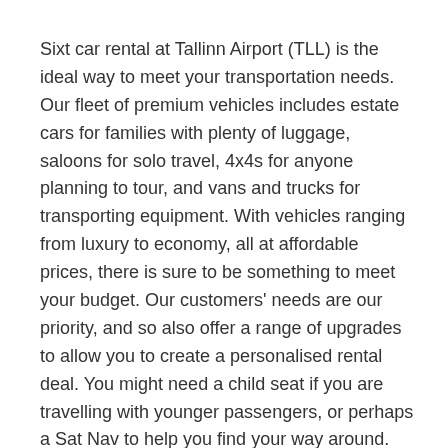Sixt car rental at Tallinn Airport (TLL) is the ideal way to meet your transportation needs. Our fleet of premium vehicles includes estate cars for families with plenty of luggage, saloons for solo travel, 4x4s for anyone planning to tour, and vans and trucks for transporting equipment. With vehicles ranging from luxury to economy, all at affordable prices, there is sure to be something to meet your budget. Our customers' needs are our priority, and so also offer a range of upgrades to allow you to create a personalised rental deal. You might need a child seat if you are travelling with younger passengers, or perhaps a Sat Nav to help you find your way around. There are various insurance add-ons, including a special under 25s package, personal accident cover or loss damage waiver. If you are going a long distance, an additional driver or unlimited mileage is also an option. 24 hour drop-off is available, and you can also arrange in advance for an out-of-hours pickup. Please be aware that with a car hire from Tallinn Airport, you are booking a vehicle category; a specific model cannot be